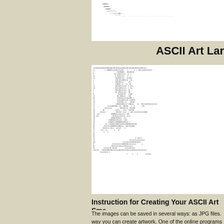[Figure (illustration): ASCII art image showing dotted/dashed pattern at the top portion of the page]
ASCII Art Lar
[Figure (illustration): Large ASCII art image made of 0s and 1s forming a pattern/image]
Instruction for Creating Your ASCII Art Sma
The images can be saved in several ways: as JPG files. way you can create artwork. One of the online programs your name, into ASCII art words that can be used in th